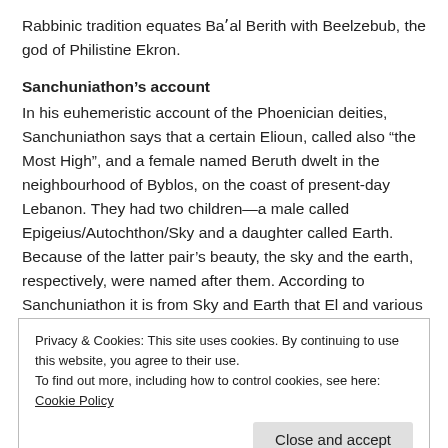Rabbinic tradition equates Baʼal Berith with Beelzebub, the god of Philistine Ekron.
Sanchuniathon’s account
In his euhemeristic account of the Phoenician deities, Sanchuniathon says that a certain Elioun, called also “the Most High”, and a female named Beruth dwelt in the neighbourhood of Byblos, on the coast of present-day Lebanon. They had two children—a male called Epigeius/Autochthon/Sky and a daughter called Earth. Because of the latter pair’s beauty, the sky and the earth, respectively, were named after them. According to Sanchuniathon it is from Sky and Earth that El and various other deities are born, though ancient texts refer to El as
Privacy & Cookies: This site uses cookies. By continuing to use this website, you agree to their use.
To find out more, including how to control cookies, see here: Cookie Policy
Close and accept
overthrown by his (Sky’s) son Kumarbi. A similar tradition